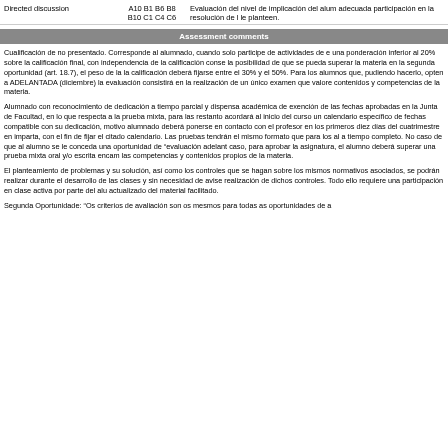| Activity | Codes | Description |
| --- | --- | --- |
| Directed discussion | A10 B1 B6 B8 B10 C1 C4 C6 | Evaluación del nivel de implicación del alumnado, adecuada participación en la resolución de los problemas que le planteen. |
Assessment comments
Cualificación de no presentado. Corresponde al alumnado, cuando solo participe de actividades de e una ponderación inferior al 20% sobre la calificación final, con independencia de la calificación consela posibilidad de que se pueda superar la materia en la segunda oportunidad (art. 18.7), el peso de la la calificación deberá fijarse entre el 30% y el 50%. Para los alumnos que, pudiendo hacerlo, opten a ADELANTADA (diciembre) la evaluación consistirá en la realización de un único examen que valore contenidos y competencias de la materia.
Alumnado con reconocimiento de dedicación a tiempo parcial y dispensa académica de exención de las fechas aprobadas en la Junta de Facultad, en lo que respecta a la prueba mixta, para las restante acordará al inicio del curso un calendario específico de fechas compatible con su dedicación, motivo alumnado deberá ponerse en contacto con el profesor en los primeros diez días del cuatrimestre en imparta, con el fin de fijar el citado calendario. Las pruebas tendrán el mismo formato que para los al a tiempo completo. No caso de que al alumno se le conceda una oportunidad de "evaluación adelant caso, para aprobar la asignatura, el alumno deberá superar una prueba mixta oral y/o escrita encam las competencias y contenidos propios de la materia.
El planteamiento de problemas y su solución, así como los controles que se hagan sobre los mismo normativos asociados, se podrán realizar durante el desarrollo de las clases y sin necesidad de avis realización de dichos controles. Todo ello requiere una participación en clase activa por parte del al actualizado del material facilitado.
Segunda Oportunidade: "Os criterios de avaliación son os mesmos para todas as oportunidades de a